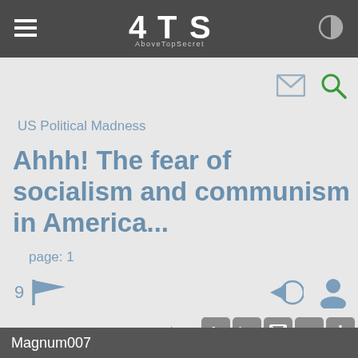ATS AboveTopSecret
US Political Madness
Ahhh! The fear of socialism and communism in America...
page: 1
9 [flag icon]
<< 1 2 3 >>
share:
Magnum007